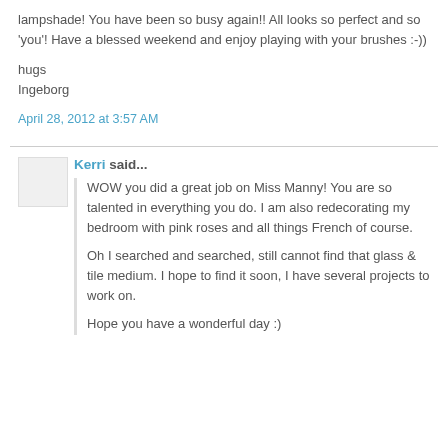lampshade! You have been so busy again!! All looks so perfect and so 'you'! Have a blessed weekend and enjoy playing with your brushes :-))
hugs
Ingeborg
April 28, 2012 at 3:57 AM
Kerri said...
WOW you did a great job on Miss Manny! You are so talented in everything you do. I am also redecorating my bedroom with pink roses and all things French of course.
Oh I searched and searched, still cannot find that glass & tile medium. I hope to find it soon, I have several projects to work on.
Hope you have a wonderful day :)